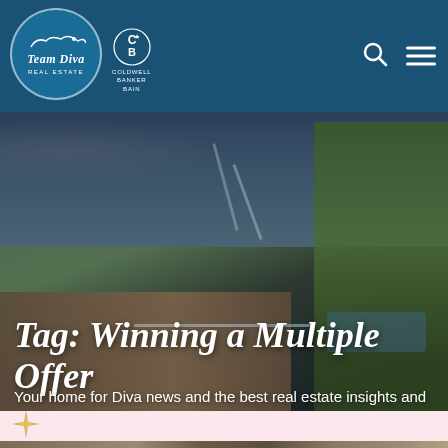Team Diva Real Estate | Coldwell Banker Bain
[Figure (photo): Rooftop deck with wooden flooring, glass railing, trees, and city skyline in background at dusk with dramatic clouds]
Tag: Winning a Multiple Offer
Your home for Diva news and the best real estate insights and advice in Seattle.
[Figure (photo): Partial view of a home exterior with an orange door and vines, bottom strip]